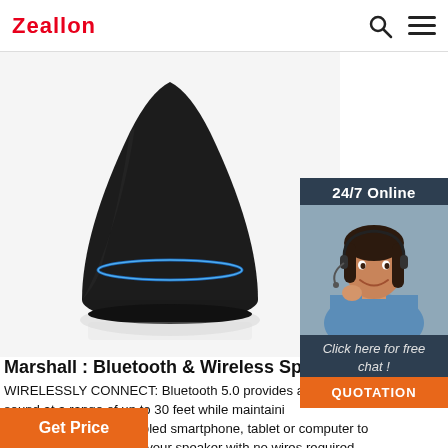Zeallon
[Figure (photo): Black Bluetooth speaker with blue LED ring light, cone-shaped design on white background]
[Figure (photo): 24/7 Online chat widget with woman wearing headset, smiling. Includes 'Click here for free chat!' text and orange QUOTATION button.]
Marshall : Bluetooth & Wireless Speakers - T
WIRELESSLY CONNECT: Bluetooth 5.0 provides a s sound at a range of up to 30 feet while maintaini Use your Bluetooth enabled smartphone, tablet or computer to stream music directly to your speaker with no wires required. ICONIC MARSHALL DESIGN: This speaker combines contemporary technology with iconic Marshall ...
Get Price